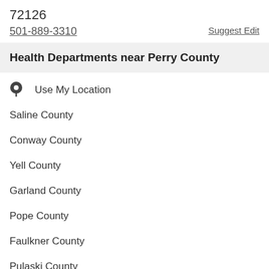72126
501-889-3310
Suggest Edit
Health Departments near Perry County
Use My Location
Saline County
Conway County
Yell County
Garland County
Pope County
Faulkner County
Pulaski County
Hot Spring County
Logan County